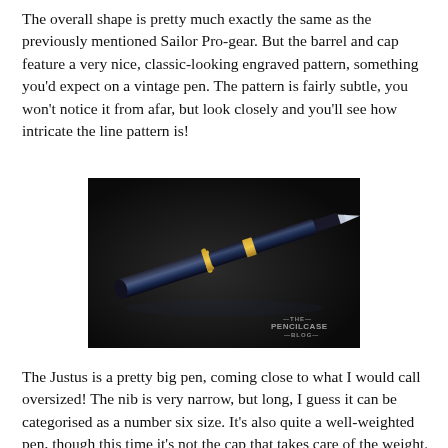The overall shape is pretty much exactly the same as the previously mentioned Sailor Pro-gear. But the barrel and cap feature a very nice, classic-looking engraved pattern, something you'd expect on a vintage pen. The pattern is fairly subtle, you won't notice it from afar, but look closely and you'll see how intricate the line pattern is!
[Figure (photo): A dark fountain pen with gold trim accents lying on a dark surface. The pen appears to be a Justus model. A watermark reads 'THE PENCILCASE BLOG' in the bottom-right corner.]
The Justus is a pretty big pen, coming close to what I would call oversized! The nib is very narrow, but long, I guess it can be categorised as a number six size. It's also quite a well-weighted pen, though this time it's not the cap that takes care of the weight. The section can...